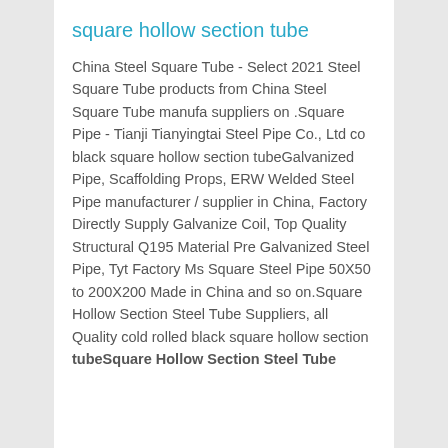square hollow section tube
China Steel Square Tube - Select 2021 Steel Square Tube products from China Steel Square Tube manufacturers suppliers on .Square Pipe - Tianjin Tianyingtai Steel Pipe Co., Ltd co black square hollow section tubeGalvanized Pipe, Scaffolding Props, ERW Welded Steel Pipe manufacturer / supplier in China, Factory Directly Supply Galvanized Coil, Top Quality Structural Q195 Material Pre Galvanized Steel Pipe, Tyt Factory Ms Square Steel Pipe 50X50 to 200X200 Made in China and so on.Square Hollow Section Steel Tube Suppliers, all Quality cold rolled black square hollow section tubeSquare Hollow Section Steel Tube
[Figure (infographic): 7X24 Online customer service ad with woman wearing headset, Hello may I help you? and Get Latest Price button]